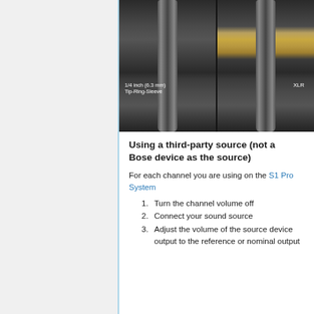[Figure (photo): Two audio connectors side by side: left shows a 1/4 inch (6.3 mm) Tip-Ring-Sleeve connector and right shows an XLR connector, both photographed against a dark background.]
Using a third-party source (not a Bose device as the source)
For each channel you are using on the S1 Pro System
1. Turn the channel volume off
2. Connect your sound source
3. Adjust the volume of the source device output to the reference or nominal output